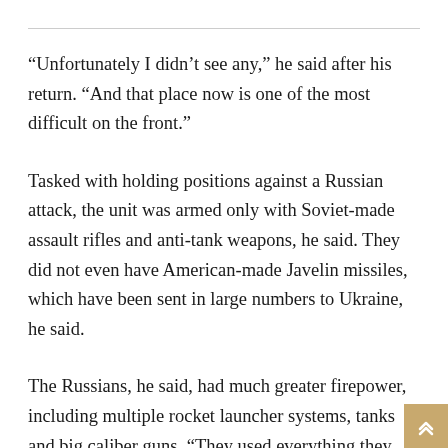“Unfortunately I didn’t see any,” he said after his return. “And that place now is one of the most difficult on the front.”
Tasked with holding positions against a Russian attack, the unit was armed only with Soviet-made assault rifles and anti-tank weapons, he said. They did not even have American-made Javelin missiles, which have been sent in large numbers to Ukraine, he said.
The Russians, he said, had much greater firepower, including multiple rocket launcher systems, tanks and big caliber guns. “They used everything they had,” he said. “They were